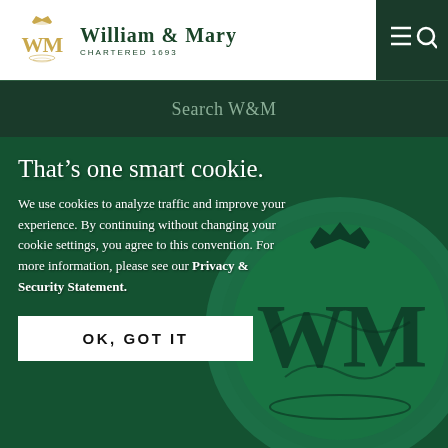[Figure (logo): William & Mary university logo with gold monogram crest and text 'WILLIAM & MARY CHARTERED 1693' in dark green]
[Figure (illustration): Navigation icon with three horizontal lines and a search/magnifying glass icon in white on dark green background]
Search W&M
That’s one smart cookie.
We use cookies to analyze traffic and improve your experience. By continuing without changing your cookie settings, you agree to this convention. For more information, please see our Privacy & Security Statement.
OK, GOT IT